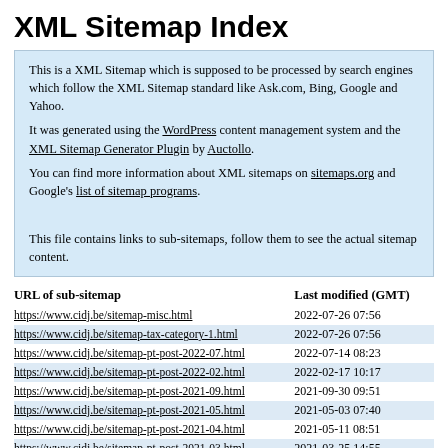XML Sitemap Index
This is a XML Sitemap which is supposed to be processed by search engines which follow the XML Sitemap standard like Ask.com, Bing, Google and Yahoo.
It was generated using the WordPress content management system and the XML Sitemap Generator Plugin by Auctollo.
You can find more information about XML sitemaps on sitemaps.org and Google's list of sitemap programs.

This file contains links to sub-sitemaps, follow them to see the actual sitemap content.
| URL of sub-sitemap | Last modified (GMT) |
| --- | --- |
| https://www.cidj.be/sitemap-misc.html | 2022-07-26 07:56 |
| https://www.cidj.be/sitemap-tax-category-1.html | 2022-07-26 07:56 |
| https://www.cidj.be/sitemap-pt-post-2022-07.html | 2022-07-14 08:23 |
| https://www.cidj.be/sitemap-pt-post-2022-02.html | 2022-02-17 10:17 |
| https://www.cidj.be/sitemap-pt-post-2021-09.html | 2021-09-30 09:51 |
| https://www.cidj.be/sitemap-pt-post-2021-05.html | 2021-05-03 07:40 |
| https://www.cidj.be/sitemap-pt-post-2021-04.html | 2021-05-11 08:51 |
| https://www.cidj.be/sitemap-pt-post-2021-03.html | 2021-03-25 14:55 |
| https://www.cidj.be/sitemap-pt-post-2021-02.html | 2021-02-10 18:04 |
| https://www.cidj.be/sitemap-pt-post-2021-01.html | 2021-01-06 17:06 |